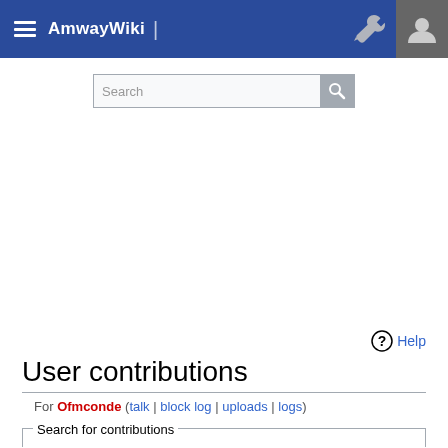AmwayWiki
User contributions
For Ofmconde (talk | block log | uploads | logs)
Search for contributions